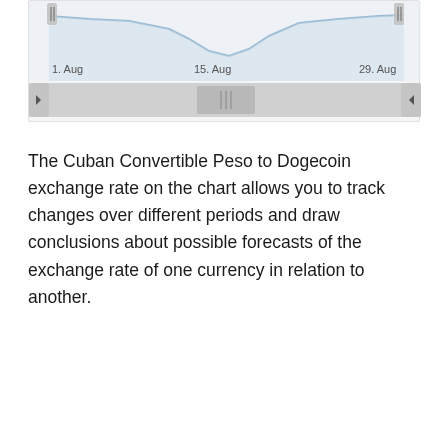[Figure (continuous-plot): A line chart showing Cuban Convertible Peso to Dogecoin exchange rate over time, with a range selector/scrollbar below. The chart shows a line with a dip around 15. Aug. X-axis labels: 1. Aug, 15. Aug, 29. Aug. Navigation arrows on the scrollbar.]
The Cuban Convertible Peso to Dogecoin exchange rate on the chart allows you to track changes over different periods and draw conclusions about possible forecasts of the exchange rate of one currency in relation to another.